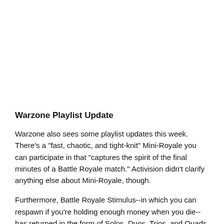Warzone Playlist Update
Warzone also sees some playlist updates this week. There's a "fast, chaotic, and tight-knit" Mini-Royale you can participate in that "captures the spirit of the final minutes of a Battle Royale match." Activision didn't clarify anything else about Mini-Royale, though.
Furthermore, Battle Royale Stimulus--in which you can respawn if you're holding enough money when you die--has returned in the form of Solos, Duos, Trios, and Quads. Plunder Quads is also back.